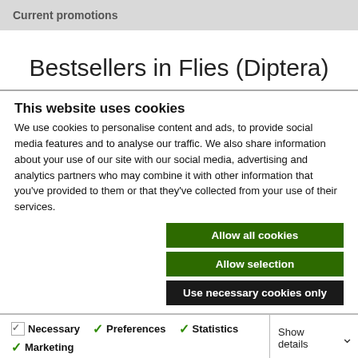Current promotions
Bestsellers in Flies (Diptera)
This website uses cookies
We use cookies to personalise content and ads, to provide social media features and to analyse our traffic. We also share information about your use of our site with our social media, advertising and analytics partners who may combine it with other information that you've provided to them or that they've collected from your use of their services.
Allow all cookies
Allow selection
Use necessary cookies only
Necessary  Preferences  Statistics  Marketing  Show details